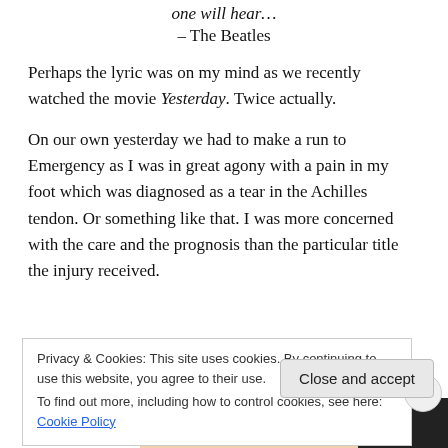one will hear...
– The Beatles
Perhaps the lyric was on my mind as we recently watched the movie Yesterday. Twice actually.
On our own yesterday we had to make a run to Emergency as I was in great agony with a pain in my foot which was diagnosed as a tear in the Achilles tendon. Or something like that. I was more concerned with the care and the prognosis than the particular title the injury received.
Privacy & Cookies: This site uses cookies. By continuing to use this website, you agree to their use.
To find out more, including how to control cookies, see here: Cookie Policy
Close and accept